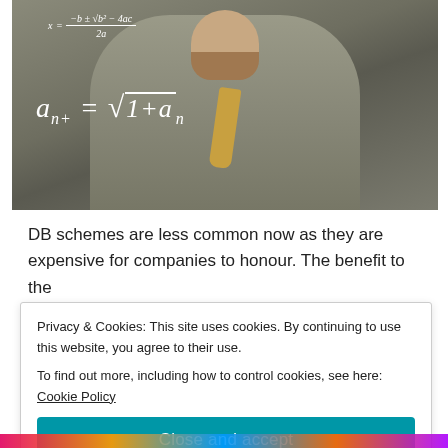[Figure (photo): A bearded man in a grey suit standing in front of a chalkboard. Mathematical formulas are overlaid on the image in white text, including the quadratic formula at the top and a recurrence relation formula a_{n+1} = sqrt(1 + a_n) in the center.]
DB schemes are less common now as they are expensive for companies to honour.  The benefit to the
Privacy & Cookies: This site uses cookies. By continuing to use this website, you agree to their use.
To find out more, including how to control cookies, see here: Cookie Policy
Close and accept